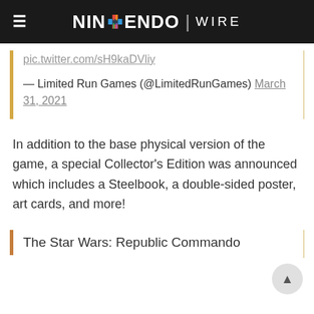NINTENDO WIRE
pic.twitter.com/sH9kaDVliy
— Limited Run Games (@LimitedRunGames) March 31, 2021
In addition to the base physical version of the game, a special Collector's Edition was announced which includes a Steelbook, a double-sided poster, art cards, and more!
The Star Wars: Republic Commando